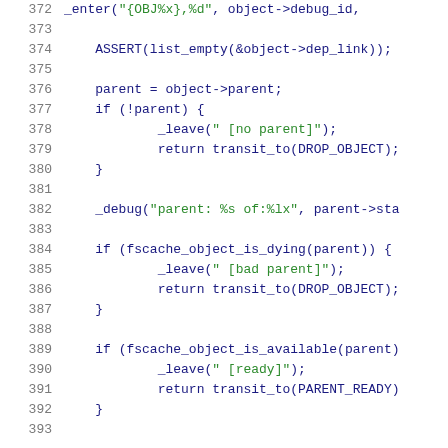Source code listing, lines 372-392, C code for fscache object state machine